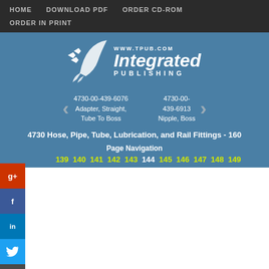HOME   DOWNLOAD PDF   ORDER CD-ROM   ORDER IN PRINT
[Figure (logo): Integrated Publishing logo with bird/arrow graphic and URL www.tpub.com]
4730-00-439-6076 Adapter, Straight, Tube To Boss   4730-00-439-6913 Nipple, Boss
4730 Hose, Pipe, Tube, Lubrication, and Rail Fittings - 160
Page Navigation
139 140 141 142 143 144 145 146 147 148 149